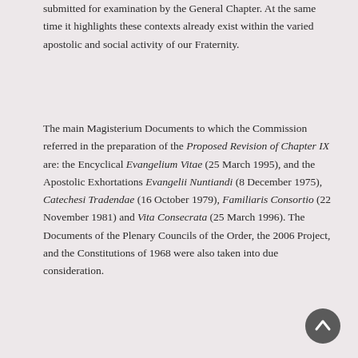submitted for examination by the General Chapter. At the same time it highlights these contexts already exist within the varied apostolic and social activity of our Fraternity.
The main Magisterium Documents to which the Commission referred in the preparation of the Proposed Revision of Chapter IX are: the Encyclical Evangelium Vitae (25 March 1995), and the Apostolic Exhortations Evangelii Nuntiandi (8 December 1975), Catechesi Tradendae (16 October 1979), Familiaris Consortio (22 November 1981) and Vita Consecrata (25 March 1996). The Documents of the Plenary Councils of the Order, the 2006 Project, and the Constitutions of 1968 were also taken into due consideration.